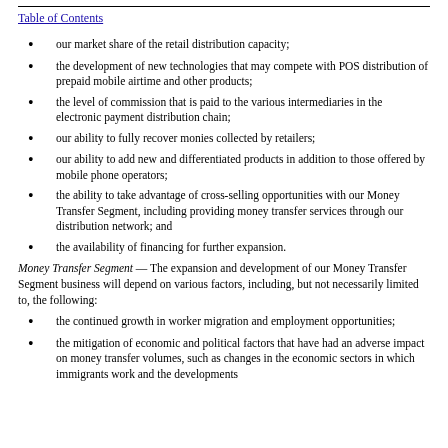Table of Contents
our market share of the retail distribution capacity;
the development of new technologies that may compete with POS distribution of prepaid mobile airtime and other products;
the level of commission that is paid to the various intermediaries in the electronic payment distribution chain;
our ability to fully recover monies collected by retailers;
our ability to add new and differentiated products in addition to those offered by mobile phone operators;
the ability to take advantage of cross-selling opportunities with our Money Transfer Segment, including providing money transfer services through our distribution network; and
the availability of financing for further expansion.
Money Transfer Segment — The expansion and development of our Money Transfer Segment business will depend on various factors, including, but not necessarily limited to, the following:
the continued growth in worker migration and employment opportunities;
the mitigation of economic and political factors that have had an adverse impact on money transfer volumes, such as changes in the economic sectors in which immigrants work and the developments